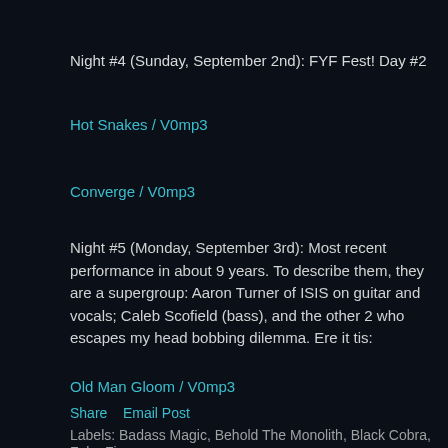Night #4 (Sunday, September 2nd): FYF Fest! Day #2
Hot Snakes / V0mp3
Converge / V0mp3
Night #5 (Monday, September 3rd): Most recent performance in about 9 years. To describe them, they are a supergroup: Aaron Turner of ISIS on guitar and vocals; Caleb Scofield (bass), and the other 2 who escapes my head bobbing dilemma. Ere it tis:
Old Man Gloom / V0mp3
Share    Email Post
Labels: Badass Magic, Behold The Monolith, Black Cobra, Fake Figures,